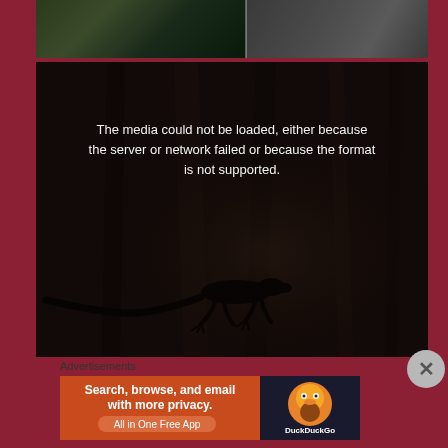[Figure (photo): Top portion of a split image: left side shows dark green foliage/bushes at night, right side shows a gray textured surface (possibly pavement or concrete)]
[Figure (screenshot): Video player showing error message 'The media could not be loaded, either because the server or network failed or because the format is not supported.' with dark background showing a lizard silhouette on a wood/tree surface]
The media could not be loaded, either because the server or network failed or because the format is not supported.
Advertisements
[Figure (screenshot): DuckDuckGo advertisement banner: orange background with text 'Search, browse, and email with more privacy. All in One Free App' and DuckDuckGo logo on dark blue background]